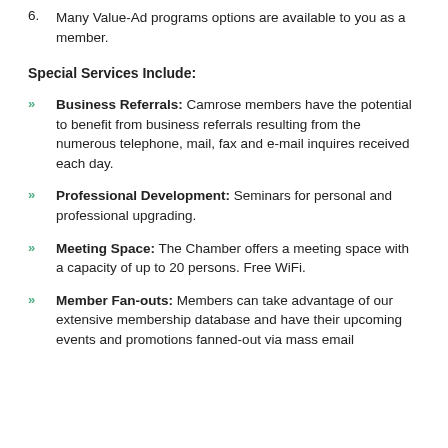6. Many Value-Ad programs options are available to you as a member.
Special Services Include:
Business Referrals: Camrose members have the potential to benefit from business referrals resulting from the numerous telephone, mail, fax and e-mail inquires received each day.
Professional Development: Seminars for personal and professional upgrading.
Meeting Space: The Chamber offers a meeting space with a capacity of up to 20 persons. Free WiFi.
Member Fan-outs: Members can take advantage of our extensive membership database and have their upcoming events and promotions fanned-out via mass email